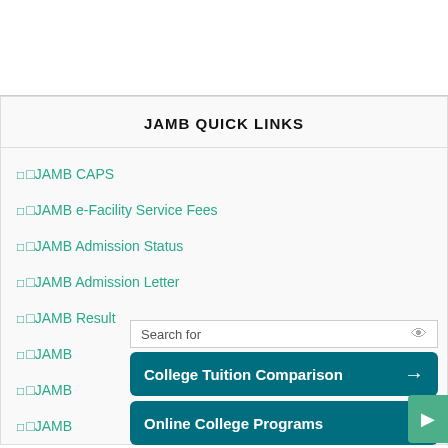JAMB QUICK LINKS
□JAMB CAPS
□JAMB e-Facility Service Fees
□JAMB Admission Status
□JAMB Admission Letter
□JAMB Result
□JAMB...
□JAMB...
□JAMB...
[Figure (screenshot): Ad overlay showing College Tuition Comparison and Online College Programs sponsored links from Yahoo Search]